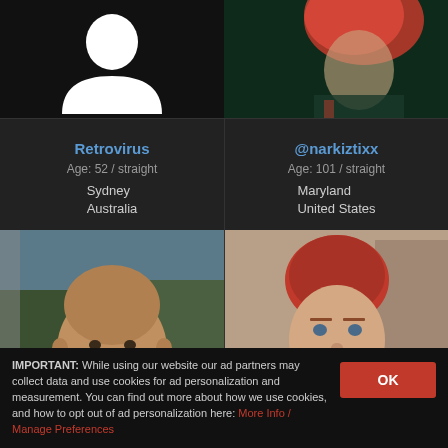[Figure (illustration): Black silhouette placeholder avatar on dark background]
Retrovirus
Age: 52 / straight
Sydney
Australia
[Figure (photo): Person with pink/red hair on green/dark background, photo cropped]
@narkiztixx
Age: 101 / straight
Maryland
United States
[Figure (photo): Photo of a middle-aged bald man with goatee outdoors]
[Figure (photo): Photo of a young woman with short red hair indoors]
IMPORTANT: While using our website our ad partners may collect data and use cookies for ad personalization and measurement. You can find out more about how we use cookies, and how to opt out of ad personalization here: More Info / Manage Preferences